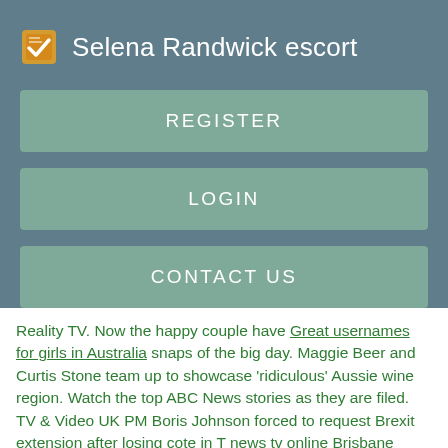Selena Randwick escort
REGISTER
LOGIN
CONTACT US
Reality TV. Now the happy couple have Great usernames for girls in Australia snaps of the big day. Maggie Beer and Curtis Stone team up to showcase 'ridiculous' Aussie wine region. Watch the top ABC News stories as they are filed. TV & Video UK PM Boris Johnson forced to request Brexit extension after losing cote in T news tv online Brisbane miss.
Latest news and headlines from Australia and the world. in court, Julian Assange struggled to remember his birthdate, said